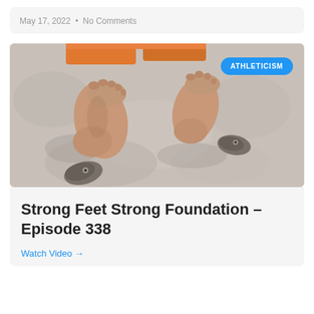May 17, 2022 · No Comments
[Figure (photo): Overhead view of bare human feet standing on a rocky granite surface with climbing holds, person wearing orange shorts]
ATHLETICISM
Strong Feet Strong Foundation – Episode 338
Watch Video →